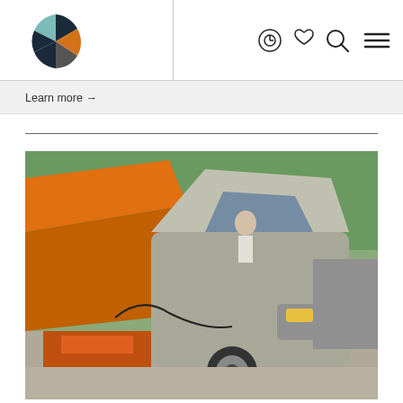[Figure (logo): Colorful pie-chart style logo with teal, navy, and orange wedges]
[Figure (other): Navigation icons: eye/clock, heart, search, hamburger menu]
Learn more →
[Figure (photo): Photo of two cars with hoods open, one orange, one silver/grey SUV, outdoors on a street. A person is visible in the background looking at an engine. Jump cables visible.]